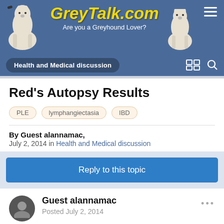[Figure (screenshot): GreyTalk.com website header with two greyhound dog images, site title 'GreyTalk.com' in yellow italic text, subtitle 'Are you a Greyhound Lover?', and hamburger menu icon]
Health and Medical discussion
Red's Autopsy Results
PLE
lymphangiectasia
IBD
By Guest alannamac,
July 2, 2014 in Health and Medical discussion
Reply to this topic
Guest alannamac
Posted July 2, 2014
Hi, for reference for others who may go through the same thing, I